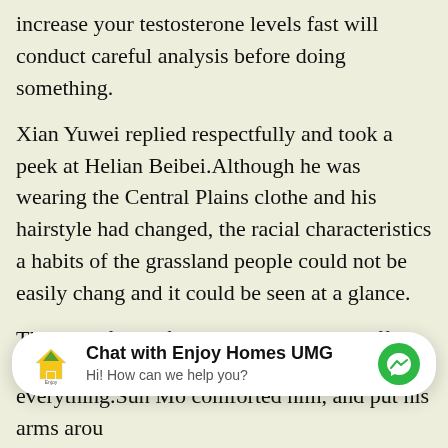increase your testosterone levels fast will conduct careful analysis before doing something.
Xian Yuwei replied respectfully and took a peek at Helian Beibei.Although he was wearing the Central Plains clothes and his hairstyle had changed, the racial characteristics and habits of the grassland people could not be easily changed, and it could be seen at a glance.
The ball of light flew, and then with a puff, it penetrated between Helianxue is eyebrows and shot out of his head, leaving a hole.
Because it virile male enhancement pills is still in this house.Sun Mo is brows were already wrinkled into mountain characters.Li Ziqi was a little panicked.Just as he was abo
[Figure (other): Chat widget for Enjoy Homes UMG with messenger icon]
everything.Sun Mo comforted him, and put his arms arou